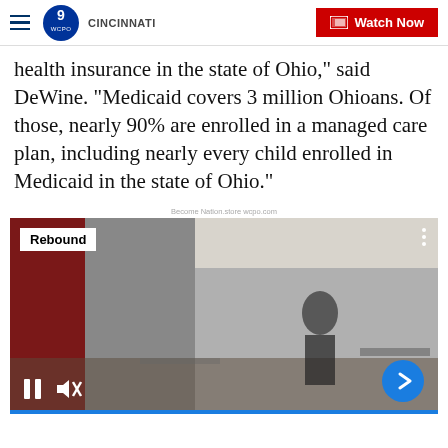WCPO 9 Cincinnati | Watch Now
health insurance in the state of Ohio," said DeWine. "Medicaid covers 3 million Ohioans. Of those, nearly 90% are enrolled in a managed care plan, including nearly every child enrolled in Medicaid in the state of Ohio."
Become Nation.store wcpo.com
[Figure (screenshot): Video player showing a classroom scene with 'Rebound' badge in top left, pause and mute controls at bottom left, and a blue next arrow button at bottom right.]